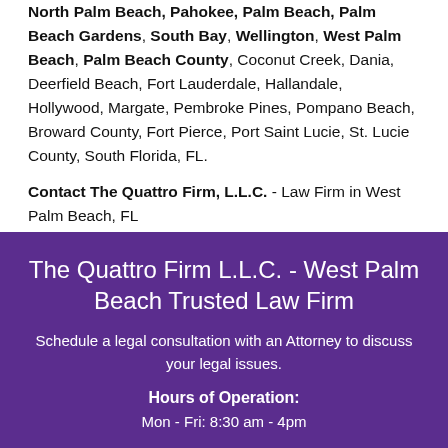North Palm Beach, Pahokee, Palm Beach, Palm Beach Gardens, South Bay, Wellington, West Palm Beach, Palm Beach County, Coconut Creek, Dania, Deerfield Beach, Fort Lauderdale, Hallandale, Hollywood, Margate, Pembroke Pines, Pompano Beach, Broward County, Fort Pierce, Port Saint Lucie, St. Lucie County, South Florida, FL.
Contact The Quattro Firm, L.L.C. - Law Firm in West Palm Beach, FL
The Quattro Firm L.L.C. - West Palm Beach Trusted Law Firm
Schedule a legal consultation with an Attorney to discuss your legal issues.
Hours of Operation:
Mon - Fri: 8:30 am - 4pm